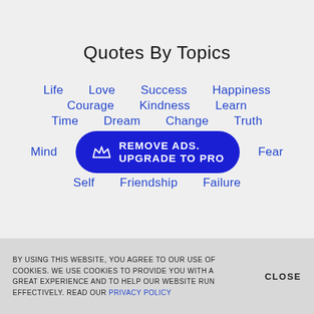Quotes By Topics
Life
Love
Success
Happiness
Courage
Kindness
Learn
Time
Dream
Change
Truth
Mind
[Figure (other): REMOVE ADS. UPGRADE TO PRO button with crown icon]
Fear
Self
Friendship
Failure
BY USING THIS WEBSITE, YOU AGREE TO OUR USE OF COOKIES. WE USE COOKIES TO PROVIDE YOU WITH A GREAT EXPERIENCE AND TO HELP OUR WEBSITE RUN EFFECTIVELY. READ OUR PRIVACY POLICY
CLOSE